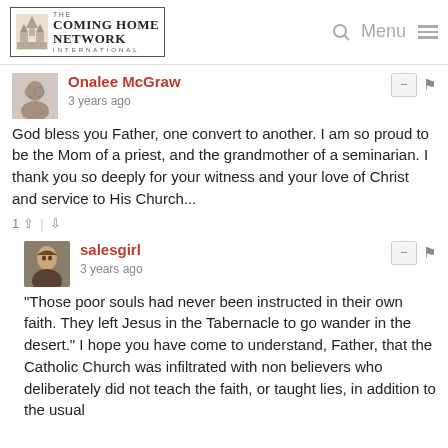The Coming Home Network International
Onalee McGraw
3 years ago
God bless you Father, one convert to another. I am so proud to be the Mom of a priest, and the grandmother of a seminarian. I thank you so deeply for your witness and your love of Christ and service to His Church...
salesgirl
3 years ago
"Those poor souls had never been instructed in their own faith. They left Jesus in the Tabernacle to go wander in the desert." I hope you have come to understand, Father, that the Catholic Church was infiltrated with non believers who deliberately did not teach the faith, or taught lies, in addition to the usual